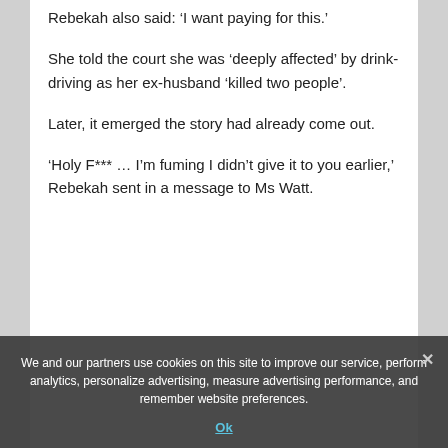Rebekah also said: 'I want paying for this.'
She told the court she was ‘deeply affected’ by drink-driving as her ex-husband ‘killed two people’.
Later, it emerged the story had already come out.
‘Holy F*** … I’m fuming I didn’t give it to you earlier,’ Rebekah sent in a message to Ms Watt.
We and our partners use cookies on this site to improve our service, perform analytics, personalize advertising, measure advertising performance, and remember website preferences.